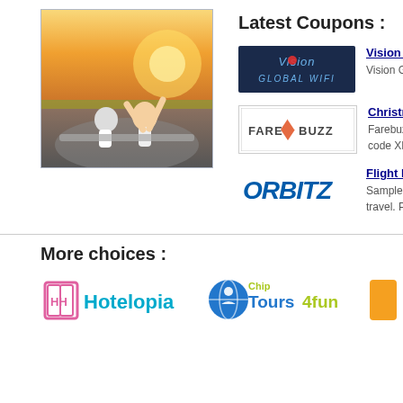[Figure (photo): Photo of two people in a convertible car with arms raised, driving at sunset]
Latest Coupons :
[Figure (logo): Vision Global WiFi logo - dark blue background with white text]
Vision Global
Vision Global
[Figure (logo): Fare Buzz logo with orange diamond icon]
Christmas - Fl
Farebuzz brin
code XMAS12
[Figure (logo): Orbitz logo in blue italic text]
Flight Deals U
Sample prices
travel. Prices
More choices :
[Figure (logo): Hotelopia logo with pink HH book icon]
[Figure (logo): Chip Tours4fun logo with blue globe icon]
[Figure (logo): Partially visible orange logo on right edge]